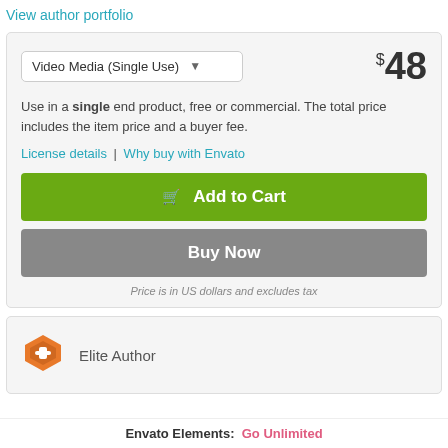View author portfolio
Video Media (Single Use)  $48
Use in a single end product, free or commercial. The total price includes the item price and a buyer fee.
License details | Why buy with Envato
Add to Cart
Buy Now
Price is in US dollars and excludes tax
Elite Author
Envato Elements: Go Unlimited